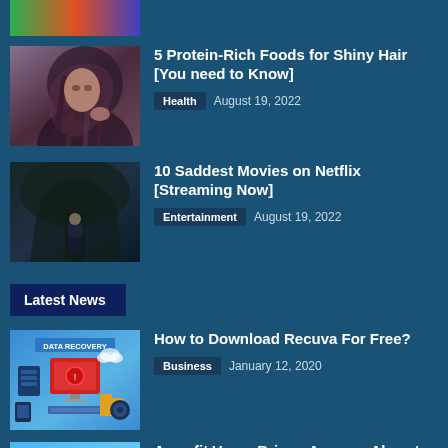[Figure (photo): Partial view of colorful top banner image (cropped at top)]
5 Protein-Rich Foods for Shiny Hair [You need to Know] | Health | August 19, 2022
10 Saddest Movies on Netflix [Streaming Now] | Entertainment | August 19, 2022
Latest News
How to Download Recuva For Free? | Business | January 12, 2020
Amazfit Verge Brings Amazon Alexa to The Wrist, Adds IOS Calling